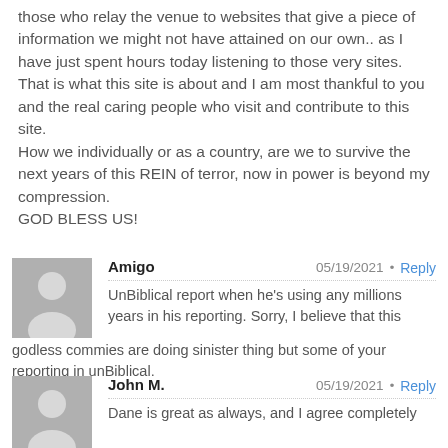those who relay the venue to websites that give a piece of information we might not have attained on our own.. as I have just spent hours today listening to those very sites. That is what this site is about and I am most thankful to you and the real caring people who visit and contribute to this site.
How we individually or as a country, are we to survive the next years of this REIN of terror, now in power is beyond my compression.
GOD BLESS US!
Amigo • 05/19/2021 • Reply
UnBiblical report when he's using any millions years in his reporting. Sorry, I believe that this godless commies are doing sinister thing but some of your reporting in unBiblical.
John M. • 05/19/2021 • Reply
Dane is great as always, and I agree completely